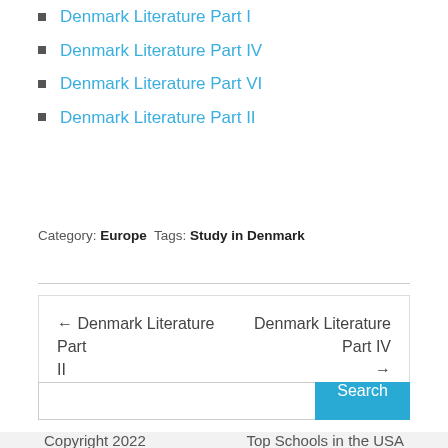Denmark Literature Part I
Denmark Literature Part IV
Denmark Literature Part VI
Denmark Literature Part II
Category: Europe  Tags: Study in Denmark
← Denmark Literature Part II    Denmark Literature Part IV →
Search
Copyright 2022    Top Schools in the USA